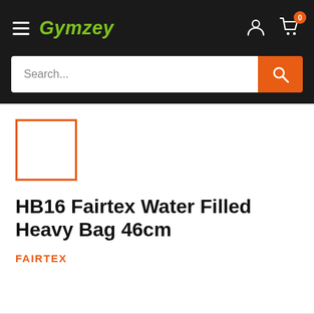Gymzey
Search...
[Figure (other): Product thumbnail placeholder — orange bordered square with white interior]
HB16 Fairtex Water Filled Heavy Bag 46cm
FAIRTEX